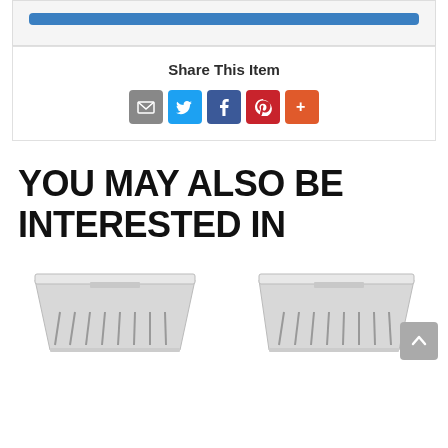Share This Item
[Figure (infographic): Social share icons: email (grey), Twitter (blue), Facebook (dark blue), Pinterest (red), More (orange-red)]
YOU MAY ALSO BE INTERESTED IN
[Figure (photo): Stainless steel under-cabinet range hood, front view]
[Figure (photo): Stainless steel under-cabinet range hood, second product, with back-to-top button overlay]